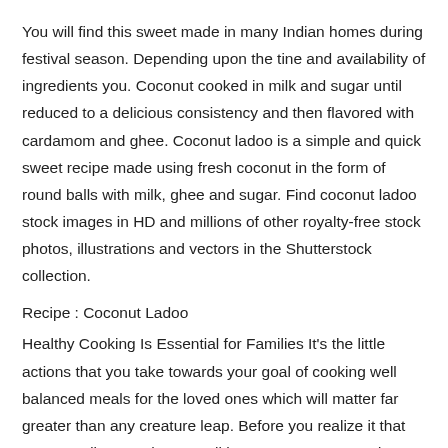You will find this sweet made in many Indian homes during festival season. Depending upon the tine and availability of ingredients you. Coconut cooked in milk and sugar until reduced to a delicious consistency and then flavored with cardamom and ghee. Coconut ladoo is a simple and quick sweet recipe made using fresh coconut in the form of round balls with milk, ghee and sugar. Find coconut ladoo stock images in HD and millions of other royalty-free stock photos, illustrations and vectors in the Shutterstock collection.
Recipe : Coconut Ladoo
Healthy Cooking Is Essential for Families It's the little actions that you take towards your goal of cooking well balanced meals for the loved ones which will matter far greater than any creature leap. Before you realize it that you may discover that you all have more energy and a much greater sense of general wellbeing than you would have envisioned before changing up your cooking customs. If that isn't enough to support you however, you could check out